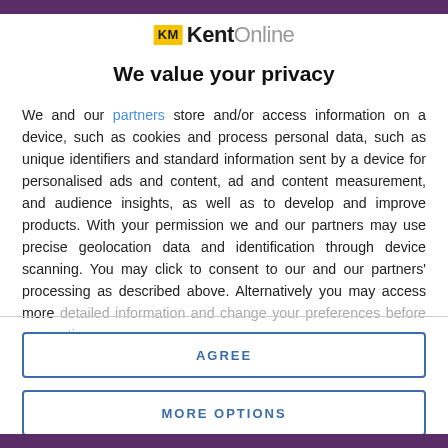[Figure (logo): KM KentOnline logo — yellow KM badge followed by bold 'Kent' and light 'Online']
We value your privacy
We and our partners store and/or access information on a device, such as cookies and process personal data, such as unique identifiers and standard information sent by a device for personalised ads and content, ad and content measurement, and audience insights, as well as to develop and improve products. With your permission we and our partners may use precise geolocation data and identification through device scanning. You may click to consent to our and our partners' processing as described above. Alternatively you may access more detailed information and change your preferences before consenting
AGREE
MORE OPTIONS